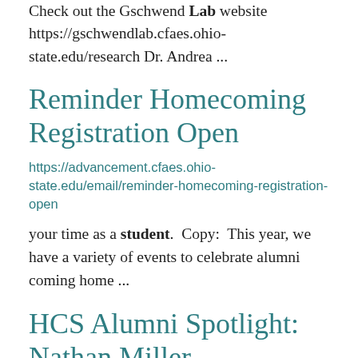Check out the Gschwend Lab website https://gschwendlab.cfaes.ohio-state.edu/research Dr. Andrea ...
Reminder Homecoming Registration Open
https://advancement.cfaes.ohio-state.edu/email/reminder-homecoming-registration-open
your time as a student.  Copy:  This year, we have a variety of events to celebrate alumni coming home ...
HCS Alumni Spotlight: Nathan Miller